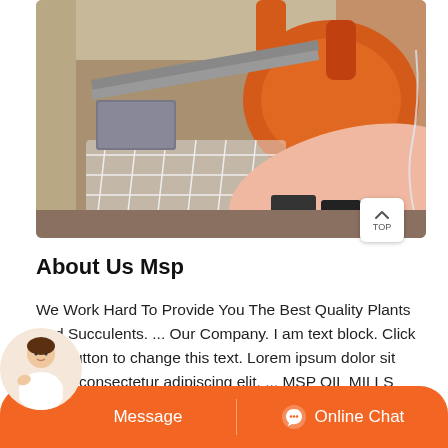[Figure (photo): Industrial mill machinery photo showing an orange rotating drum/mixer and metal frame conveyor with netting inside a factory/plant building]
About Us Msp
We Work Hard To Provide You The Best Quality Plants And Succulents. ... Our Company. I am text block. Click edit button to change this text. Lorem ipsum dolor sit amet, consectetur adipiscing elit. ... MSP OIL MILLS Hogenakal by-pass Road, Pennagaram, il No. 636819 98433-51349 79193-355411 94342-355411